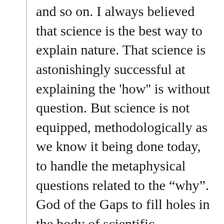and so on. I always believed that science is the best way to explain nature. That science is astonishingly successful at explaining the 'how'' is without question. But science is not equipped, methodologically as we know it being done today, to handle the metaphysical questions related to the "why". God of the Gaps to fill holes in the body of scientific knowledge is as much a caricature as Naturalism of the Gaps.